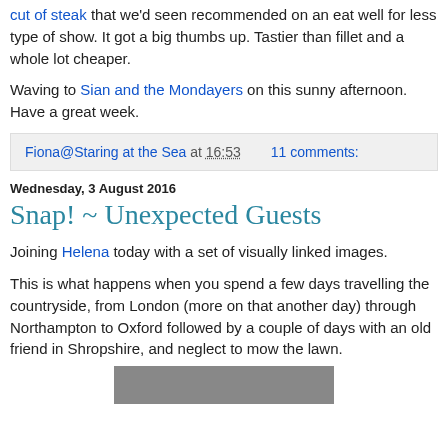cut of steak that we'd seen recommended on an eat well for less type of show. It got a big thumbs up. Tastier than fillet and a whole lot cheaper.
Waving to Sian and the Mondayers on this sunny afternoon. Have a great week.
Fiona@Staring at the Sea at 16:53    11 comments:
Wednesday, 3 August 2016
Snap! ~ Unexpected Guests
Joining Helena today with a set of visually linked images.
This is what happens when you spend a few days travelling the countryside, from London (more on that another day) through Northampton to Oxford followed by a couple of days with an old friend in Shropshire, and neglect to mow the lawn.
[Figure (photo): Partial image visible at bottom of page, appears to be a countryside/lawn photograph]